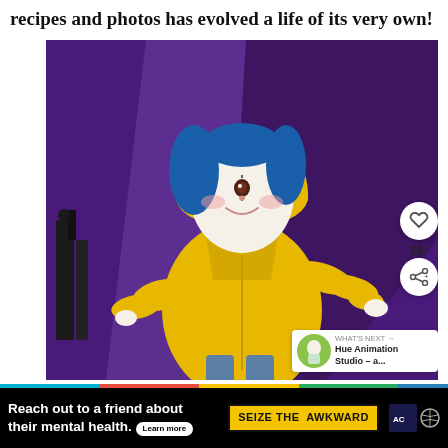recipes and photos has evolved a life of its very own!
[Figure (photo): A Coraline doll with blue hair, white face, and a yellow raincoat, posed against a purple fabric background with some dark objects in the background. Overlaid UI elements include a heart/like button showing 16 and a share button. A 'WHAT'S NEXT' card shows 'Hue Animation Studio - a...']
WHAT'S NEXT → Hue Animation Studio – a...
Reach out to a friend about their mental health. Learn more SEIZE THE AWKWARD